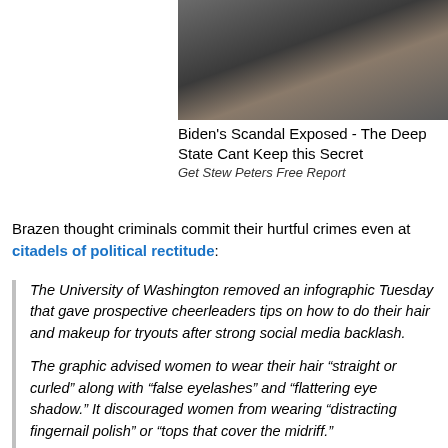[Figure (photo): Photo of a person wearing a brown jacket, partially cropped, dark background]
Biden's Scandal Exposed - The Deep State Cant Keep this Secret
Get Stew Peters Free Report
Brazen thought criminals commit their hurtful crimes even at citadels of political rectitude:
The University of Washington removed an infographic Tuesday that gave prospective cheerleaders tips on how to do their hair and makeup for tryouts after strong social media backlash.
The graphic advised women to wear their hair “straight or curled” along with “false eyelashes” and “flattering eye shadow.” It discouraged women from wearing “distracting fingernail polish” or “tops that cover the midriff.”
The Seattle Times reported the advice along with a photo of a white woman in blond hair posing in a black sports bra was posted on the cheerleading team’s Facebook page.